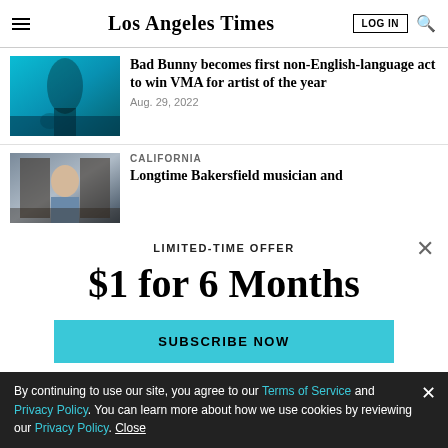Los Angeles Times
[Figure (screenshot): News article thumbnail: teal-lit concert performance stage]
Bad Bunny becomes first non-English-language act to win VMA for artist of the year
Aug. 29, 2022
[Figure (screenshot): News article thumbnail: older man standing in an ornate building]
CALIFORNIA
Longtime Bakersfield musician and
LIMITED-TIME OFFER
$1 for 6 Months
SUBSCRIBE NOW
By continuing to use our site, you agree to our Terms of Service and Privacy Policy. You can learn more about how we use cookies by reviewing our Privacy Policy. Close